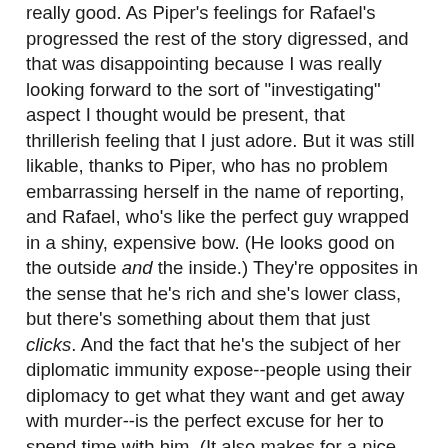really good. As Piper's feelings for Rafael's progressed the rest of the story digressed, and that was disappointing because I was really looking forward to the sort of "investigating" aspect I thought would be present, that thrillerish feeling that I just adore. But it was still likable, thanks to Piper, who has no problem embarrassing herself in the name of reporting, and Rafael, who's like the perfect guy wrapped in a shiny, expensive bow. (He looks good on the outside and the inside.) They're opposites in the sense that he's rich and she's lower class, but there's something about them that just clicks. And the fact that he's the subject of her diplomatic immunity expose--people using their diplomacy to get what they want and get away with murder--is the perfect excuse for her to spend time with him. (It also makes for a nice element to the romance, weeeee.)
How do I say this nicely and in a way that I don't mean to be offensive? Diplomatic Immunity is the sort of easy breezy you pick up when you're looking for something enjoyable but essentially meaningless. It's a bit of a page turner with a compelling plot line, characters that are so totally meant to be (Piper and Rafael are actually perfect together, and